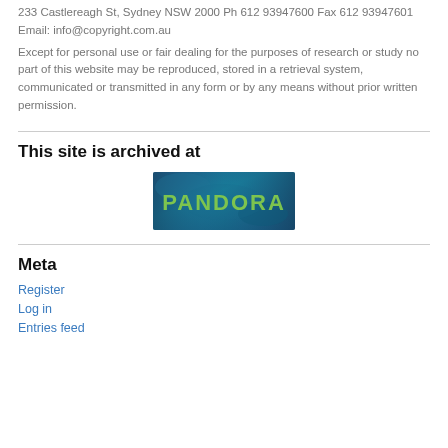233 Castlereagh St, Sydney NSW 2000 Ph 612 93947600 Fax 612 93947601 Email: info@copyright.com.au
Except for personal use or fair dealing for the purposes of research or study no part of this website may be reproduced, stored in a retrieval system, communicated or transmitted in any form or by any means without prior written permission.
This site is archived at
[Figure (logo): PANDORA logo - blue/teal background with green text reading PANDORA]
Meta
Register
Log in
Entries feed